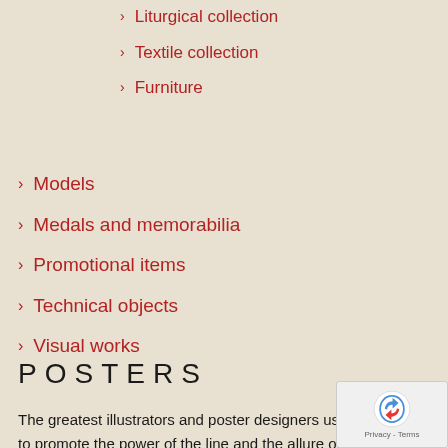Liturgical collection
Textile collection
Furniture
Models
Medals and memorabilia
Promotional items
Technical objects
Visual works
POSTERS
The greatest illustrators and poster designers used the
to promote the power of the line and the allure of...